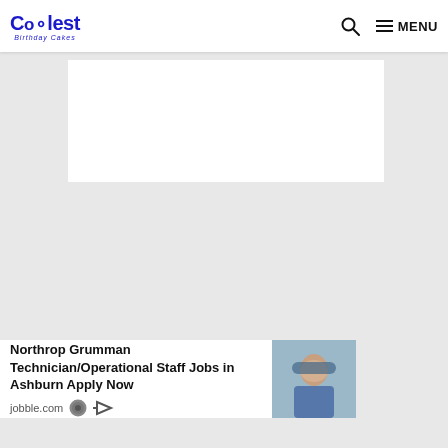Coolest Birthday Cakes | Search | MENU
[Figure (other): White rectangular advertisement placeholder box in light gray background]
[Figure (other): Bottom advertisement banner: Northrop Grumman Technician/Operational Staff Jobs in Ashburn Apply Now, jobble.com, with image of woman in hijab looking through microscope]